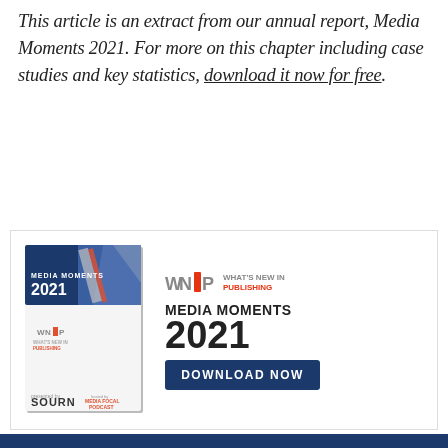This article is an extract from our annual report, Media Moments 2021. For more on this chapter including case studies and key statistics, download it now for free.
[Figure (illustration): Promotional advertisement for the Media Moments 2021 annual report by What's New In Publishing (WNIP). Left side shows a book cover mockup with 'Media Moments 2021' text and concert/event imagery. Right side shows the WNIP logo, 'MEDIA MOMENTS 2021' heading, and a dark blue 'DOWNLOAD NOW' button.]